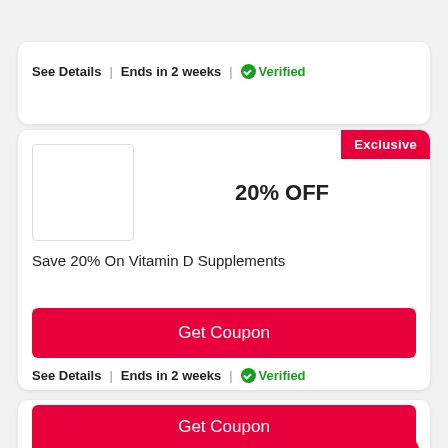See Details | Ends in 2 weeks | ✔Verified
Exclusive
20% OFF
Save 20% On Vitamin D Supplements
Get Coupon
See Details | Ends in 2 weeks | ✔Verified
40% OFF
Enjoy 40% OFF On Snow City Visit + Extra 10% OFF
Get Coupon